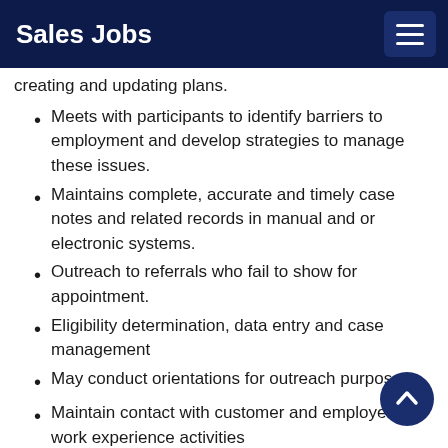Sales Jobs
creating and updating plans.
Meets with participants to identify barriers to employment and develop strategies to manage these issues.
Maintains complete, accurate and timely case notes and related records in manual and or electronic systems.
Outreach to referrals who fail to show for appointment.
Eligibility determination, data entry and case management
May conduct orientations for outreach purposes
Maintain contact with customer and employers for work experience activities
May assist with guidance for vocational training activities, support service's needs